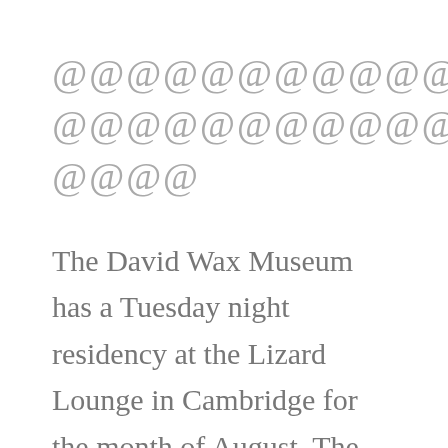@@@@@@@@@@@@ @@@@@@@@@@@@@@ @@@@
The David Wax Museum has a Tuesday night residency at the Lizard Lounge in Cambridge for the month of August. The band played at the Newport